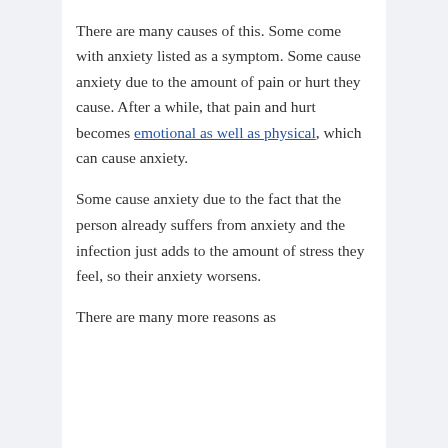There are many causes of this. Some come with anxiety listed as a symptom. Some cause anxiety due to the amount of pain or hurt they cause. After a while, that pain and hurt becomes emotional as well as physical, which can cause anxiety.
Some cause anxiety due to the fact that the person already suffers from anxiety and the infection just adds to the amount of stress they feel, so their anxiety worsens.
There are many more reasons as